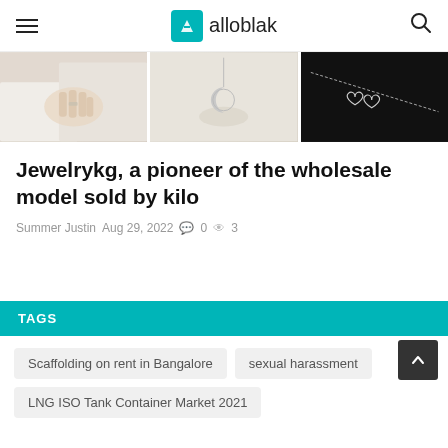alloblak
[Figure (photo): Three jewelry photos in a strip: left shows a hand with rings on white background, center shows a moon pendant necklace on beige background, right shows a double heart chain necklace on black background.]
Jewelrykg, a pioneer of the wholesale model sold by kilo
Summer Justin  Aug 29, 2022  💬 0  👁 3
TAGS
Scaffolding on rent in Bangalore
sexual harassment
LNG ISO Tank Container Market 2021